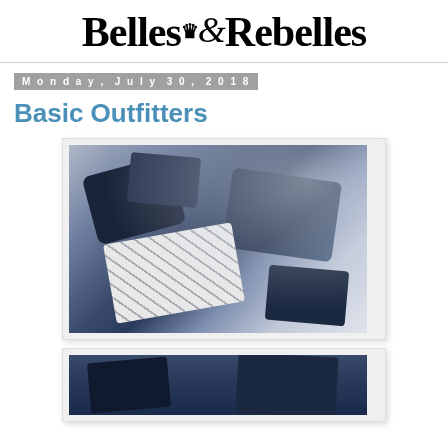Belles & Rebelles
Monday, July 30, 2018
Basic Outfitters
[Figure (photo): Flat lay photo of navy and argyle socks with packaging boxes on a white surface]
[Figure (photo): Partial view of dark navy folded clothing item]